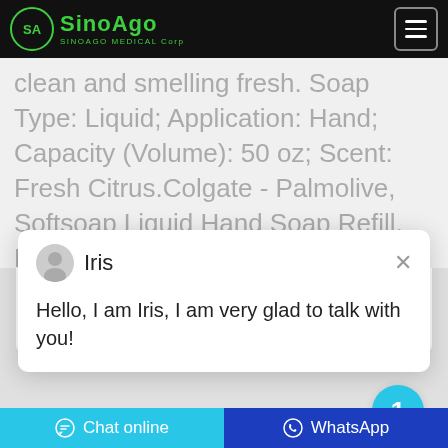SinoAgo - SINOAGO MEDICAL Corp
clean and smelling fresh. Soap Type: Liquid; Application: Hand; Capacity (Volume): 50 oz; Scent: Fresh Citrus.Colgate - Palmolive, Softsoap Liquid Hand Soap Refill, Fresh Citrus,
Iris
Hello, I am Iris, I am very glad to talk with you!
1
Chat online   WhatsApp